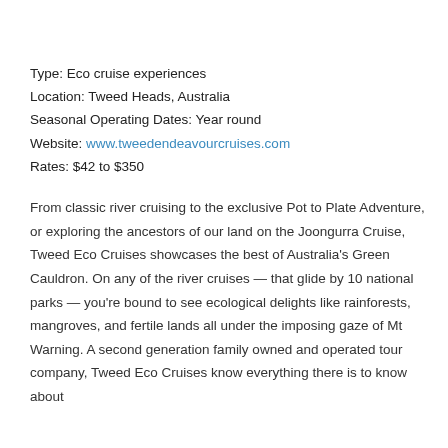Type: Eco cruise experiences
Location: Tweed Heads, Australia
Seasonal Operating Dates: Year round
Website: www.tweedendeavourcruises.com
Rates: $42 to $350
From classic river cruising to the exclusive Pot to Plate Adventure, or exploring the ancestors of our land on the Joongurra Cruise, Tweed Eco Cruises showcases the best of Australia's Green Cauldron. On any of the river cruises — that glide by 10 national parks — you're bound to see ecological delights like rainforests, mangroves, and fertile lands all under the imposing gaze of Mt Warning. A second generation family owned and operated tour company, Tweed Eco Cruises know everything there is to know about